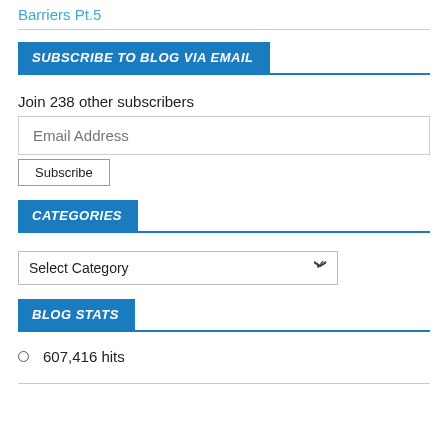Barriers Pt.5
SUBSCRIBE TO BLOG VIA EMAIL
Join 238 other subscribers
Email Address
Subscribe
CATEGORIES
Select Category
BLOG STATS
607,416 hits